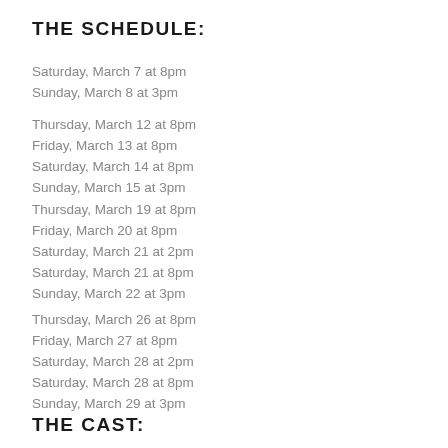THE SCHEDULE:
Saturday, March 7 at 8pm
Sunday, March 8 at 3pm
Thursday, March 12 at 8pm
Friday, March 13 at 8pm
Saturday, March 14 at 8pm
Sunday, March 15 at 3pm
Thursday, March 19 at 8pm
Friday, March 20 at 8pm
Saturday, March 21 at 2pm
Saturday, March 21 at 8pm
Sunday, March 22 at 3pm
Thursday, March 26 at 8pm
Friday, March 27 at 8pm
Saturday, March 28 at 2pm
Saturday, March 28 at 8pm
Sunday, March 29 at 3pm
THE CAST: